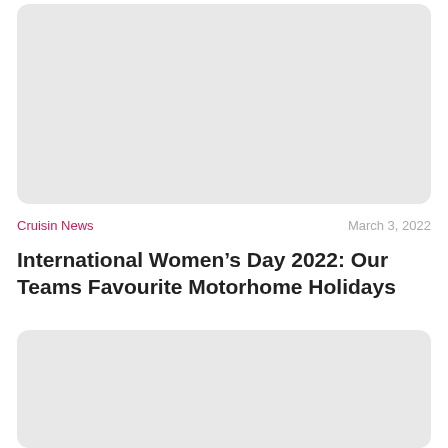[Figure (photo): Placeholder image box at top of page, light gray rounded rectangle]
Cruisin News
March 3, 2022
International Women’s Day 2022: Our Teams Favourite Motorhome Holidays
[Figure (photo): Placeholder image box at bottom of page, light gray rounded rectangle]